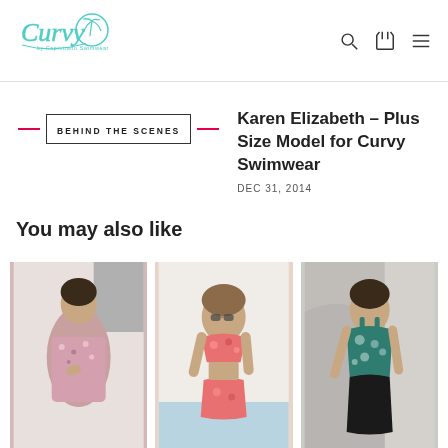Curvy by Capistrano Swimwear - logo, search, cart, menu
BEHIND THE SCENES
Karen Elizabeth - Plus Size Model for Curvy Swimwear
DEC 31, 2014
You may also like
[Figure (photo): Three product photos of plus-size swimwear models: left - pink floral one-piece, center - pink floral two-piece, right - teal floral tankini]
[Figure (photo): Pink floral one-piece swimsuit on plus-size model]
[Figure (photo): Pink floral two-piece swimsuit on plus-size model with sunglasses]
[Figure (photo): Teal floral tankini on plus-size model]